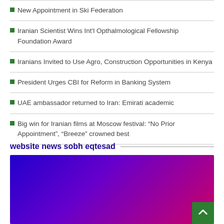New Appointment in Ski Federation
Iranian Scientist Wins Int'l Opthalmological Fellowship Foundation Award
Iranians Invited to Use Agro, Construction Opportunities in Kenya
President Urges CBI for Reform in Banking System
UAE ambassador returned to Iran: Emirati academic
Big win for Iranian films at Moscow festival: “No Prior Appointment”, “Breeze” crowned best
website news sobh eqtesad
[Figure (photo): Blue-purple gradient banner image for website news sobh eqtesad section]